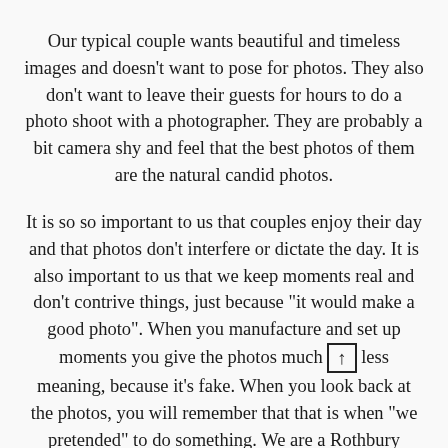Our typical couple wants beautiful and timeless images and doesn't want to pose for photos. They also don't want to leave their guests for hours to do a photo shoot with a photographer. They are probably a bit camera shy and feel that the best photos of them are the natural candid photos.
It is so so important to us that couples enjoy their day and that photos don't interfere or dictate the day. It is also important to us that we keep moments real and don't contrive things, just because "it would make a good photo". When you manufacture and set up moments you give the photos much less meaning, because it's fake. When you look back at the photos, you will remember that that is when "we pretended" to do something. We are a Rothbury